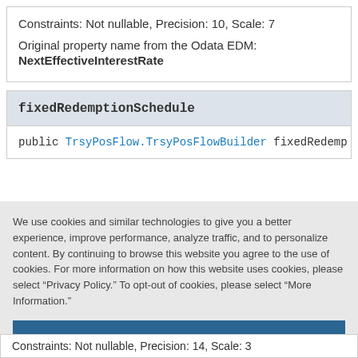Constraints: Not nullable, Precision: 10, Scale: 7
Original property name from the Odata EDM: NextEffectiveInterestRate
fixedRedemptionSchedule
public TrsyPosFlow.TrsyPosFlowBuilder fixedRedemp
We use cookies and similar technologies to give you a better experience, improve performance, analyze traffic, and to personalize content. By continuing to browse this website you agree to the use of cookies. For more information on how this website uses cookies, please select "Privacy Policy." To opt-out of cookies, please select "More Information."
Accept Cookies
More Information
Privacy Policy | Powered by: TrustArc
Constraints: Not nullable, Precision: 14, Scale: 3